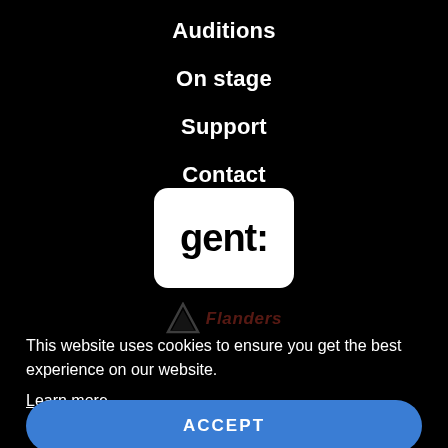Auditions
On stage
Support
Contact
[Figure (logo): White rounded rectangle logo with bold text 'gent:' in black]
[Figure (logo): Flanders logo with triangle icon and italic red text 'Flanders', shown at low opacity]
This website uses cookies to ensure you get the best experience on our website.
Learn more
ACCEPT